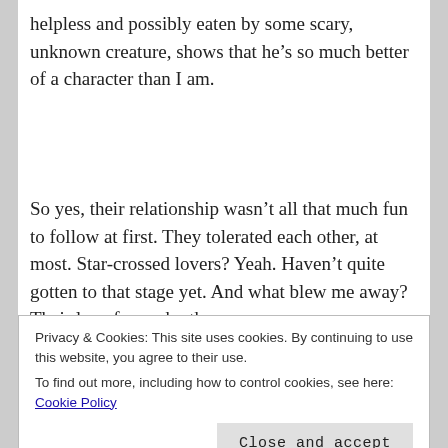helpless and possibly eaten by some scary, unknown creature, shows that he’s so much better of a character than I am.
So yes, their relationship wasn’t all that much fun to follow at first. They tolerated each other, at most. Star-crossed lovers? Yeah. Haven’t quite gotten to that stage yet. And what blew me away? Their love for each other
Privacy & Cookies: This site uses cookies. By continuing to use this website, you agree to their use.
To find out more, including how to control cookies, see here: Cookie Policy
“reality” back in their own worlds, the lives they left